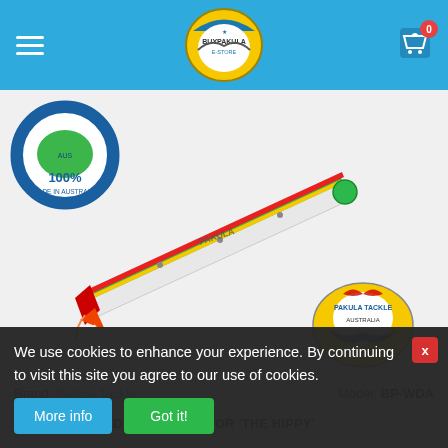[Figure (screenshot): BuyPakula e-store website header with blue background, hamburger menu on left, BuyPakula logo in center, cart icon with badge '0' on right.]
[Figure (photo): Pakula Tackle fishing lure product image with Australian Made 100% badge and Pakula Tackle Australia logo. The lure is elongated, white/silver with green, yellow and red stripes, placed on a white background.]
Brand: Pakula Tackle    Model: BP-WDA
AUSTRALIA MADE WITCHDOCTOR 'THE HIPPY'
We use cookies to enhance your experience. By continuing to visit this site you agree to our use of cookies.